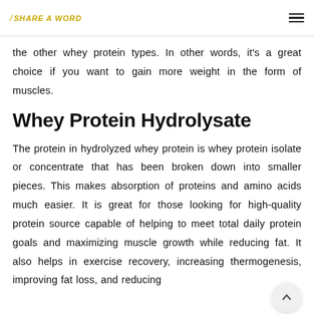/ Share a WORD
the other whey protein types. In other words, it's a great choice if you want to gain more weight in the form of muscles.
Whey Protein Hydrolysate
The protein in hydrolyzed whey protein is whey protein isolate or concentrate that has been broken down into smaller pieces. This makes absorption of proteins and amino acids much easier. It is great for those looking for high-quality protein source capable of helping to meet total daily protein goals and maximizing muscle growth while reducing fat. It also helps in exercise recovery, increasing thermogenesis, improving fat loss, and reducing